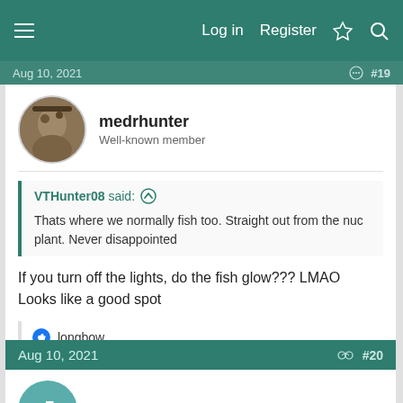Log in  Register
Aug 10, 2021  #19
medrhunter
Well-known member
VTHunter08 said: Thats where we normally fish too. Straight out from the nuc plant. Never disappointed
If you turn off the lights, do the fish glow??? LMAO
Looks like a good spot
longbow
Aug 10, 2021  #20
JDK